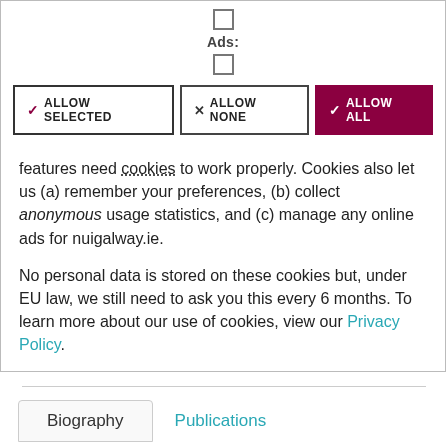[Figure (screenshot): Cookie consent dialog box showing Ads label with checkbox, and three buttons: ALLOW SELECTED, ALLOW NONE, ALLOW ALL]
features need cookies to work properly. Cookies also let us (a) remember your preferences, (b) collect anonymous usage statistics, and (c) manage any online ads for nuigalway.ie.
No personal data is stored on these cookies but, under EU law, we still need to ask you this every 6 months. To learn more about our use of cookies, view our Privacy Policy.
Biography
Publications